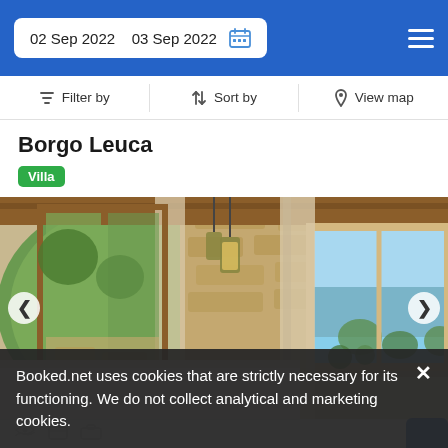02 Sep 2022  03 Sep 2022
Filter by  Sort by  View map
Borgo Leuca
Villa
[Figure (photo): Interior room photo of Borgo Leuca villa showing a bedroom with stone walls, wooden beam ceiling, open glass door with garden/stone view, white curtains, pendant lamp, and a window with blue sky view on the right side.]
Booked.net uses cookies that are strictly necessary for its functioning. We do not collect analytical and marketing cookies.